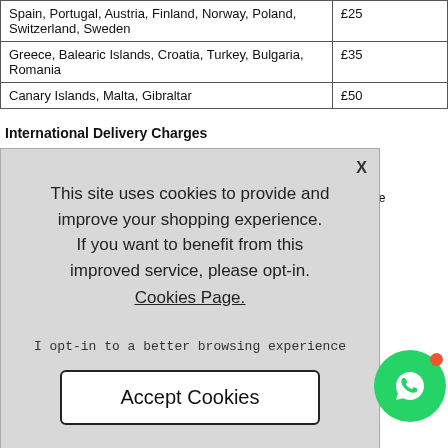|  |  |
| --- | --- |
| Spain, Portugal, Austria, Finland, Norway, Poland, Switzerland, Sweden | £25 |
| Greece, Balearic Islands, Croatia, Turkey, Bulgaria, Romania | £35 |
| Canary Islands, Malta, Gibraltar | £50 |
International Delivery Charges
on. Furthermore, we are s are per 20KG box and if your order exceeds one
[Figure (screenshot): Cookie consent overlay with message: This site uses cookies to provide and improve your shopping experience. If you want to benefit from this improved service, please opt-in. Cookies Page. I opt-in to a better browsing experience. Accept Cookies button.]
he order comments what
Collection is from our warehouse:
G7 Clothing
185 Commercial Road
London
E1 2DA
[Figure (illustration): WhatsApp icon button (green circle) with red notification dot]